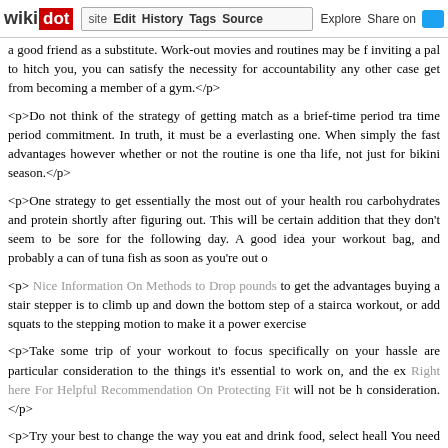wikidot | site | Edit | History | Tags | Source | Explore | Share on [Twitter]
a good friend as a substitute. Work-out movies and routines may be f inviting a pal to hitch you, you can satisfy the necessity for accountability any other case get from becoming a member of a gym.</p>
<p>Do not think of the strategy of getting match as a brief-time period tra time period commitment. In truth, it must be a everlasting one. When simply the fast advantages however whether or not the routine is one tha life, not just for bikini season.</p>
<p>One strategy to get essentially the most out of your health rou carbohydrates and protein shortly after figuring out. This will be certain addition that they don't seem to be sore for the following day. A good idea your workout bag, and probably a can of tuna fish as soon as you're out o
<p> Nice Information On Methods to Drop pounds to get the advantages buying a stair stepper is to climb up and down the bottom step of a stairca workout, or add squats to the stepping motion to make it a power exercise
<p>Take some trip of your workout to focus specifically on your hassle are particular consideration to the things it's essential to work on, and the ex Right here For Helpful Recommendation On Protecting Fit will not be h consideration.</p>
<p>Try your best to change the way you eat and drink food, select heall You need to avoid additives resembling excessive fructose corn syrup, ' Your greatest guess can be to drink water and keep away from sodas ano
[Figure (other): NHInfographicSDOH-Education.jpg image placeholder]